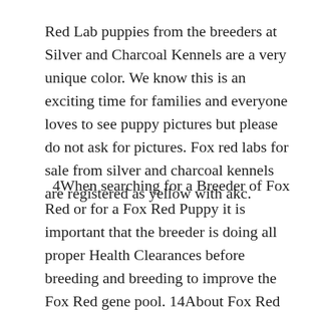Red Lab puppies from the breeders at Silver and Charcoal Kennels are a very unique color. We know this is an exciting time for families and everyone loves to see puppy pictures but please do not ask for pictures. Fox red labs for sale from silver and charcoal kennels are registered as yellow with akc.
4When searching for a Breeder of Fox Red or for a Fox Red Puppy it is important that the breeder is doing all proper Health Clearances before breeding and breeding to improve the Fox Red gene pool. 14About Fox Red Lab Puppies NO LONGER AVAILABLE. 7 only